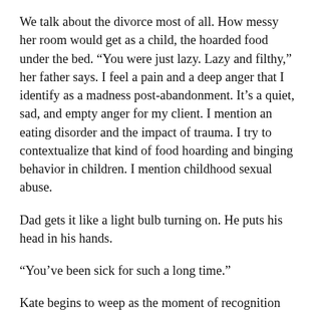We talk about the divorce most of all. How messy her room would get as a child, the hoarded food under the bed. “You were just lazy. Lazy and filthy,” her father says. I feel a pain and a deep anger that I identify as a madness post-abandonment. It’s a quiet, sad, and empty anger for my client. I mention an eating disorder and the impact of trauma. I try to contextualize that kind of food hoarding and binging behavior in children. I mention childhood sexual abuse.
Dad gets it like a light bulb turning on. He puts his head in his hands.
“You’ve been sick for such a long time.”
Kate begins to weep as the moment of recognition quietly moves over her. I think about her lonely childhood, how long ago she was left, and how drugs and sex moved in concert to fill the gaping holes in her attachment template. I think of the parallel process of how she will reparent herself through